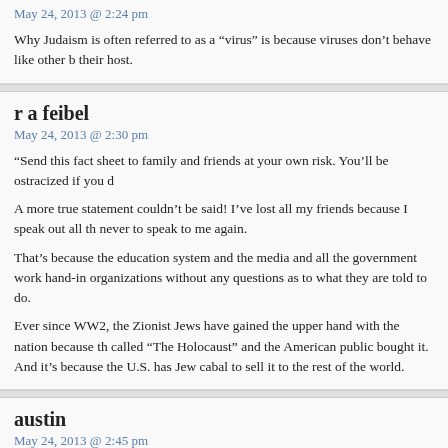May 24, 2013 @ 2:24 pm
Why Judaism is often referred to as a “virus” is because viruses don’t behave like other b their host.
r a feibel
May 24, 2013 @ 2:30 pm
“Send this fact sheet to family and friends at your own risk. You’ll be ostracized if you d
A more true statement couldn’t be said! I’ve lost all my friends because I speak out all th never to speak to me again.
That’s because the education system and the media and all the government work hand-in organizations without any questions as to what they are told to do.
Ever since WW2, the Zionist Jews have gained the upper hand with the nation because th called “The Holocaust” and the American public bought it. And it’s because the U.S. has Jew cabal to sell it to the rest of the world.
austin
May 24, 2013 @ 2:45 pm
Ya forgot Sheldon Adelson.